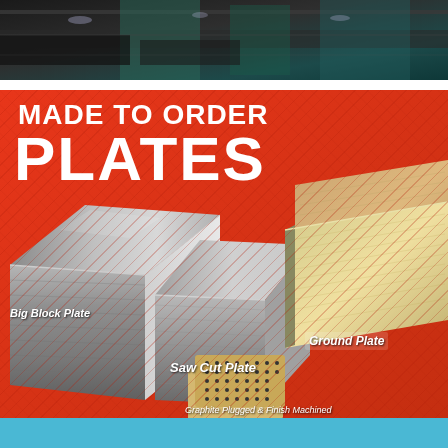[Figure (photo): Top strip photo showing industrial metal plate processing machinery with water/coolant, dark tones with teal/green machine equipment]
MADE TO ORDER PLATES
[Figure (photo): Product photo on red background showing three metal plate products: Big Block Plate (large thick steel block on left), Saw Cut Plate (medium steel block center), Ground Plate (thin flat polished plate on right), and Graphite Plugged & Finish Machined smaller plates in foreground center]
Big Block Plate
Saw Cut Plate
Ground Plate
Graphite Plugged & Finish Machined